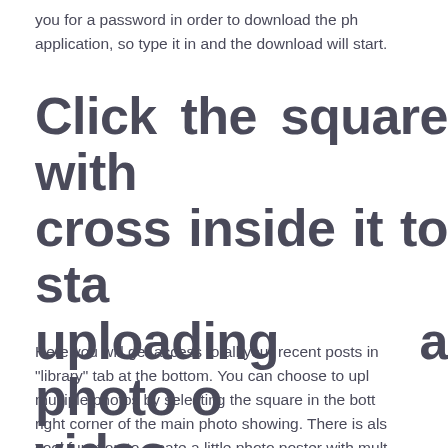you for a password in order to download the ph application, so type it in and the download will start.
Click the square with cross inside it to sta uploading a photo o video.
Here you will get access to all your recent posts in "library" tab at the bottom. You can choose to upl multiple photos by selecting the square in the bott right corner of the main photo showing. There is als cool function to create a little photo poster with mult pictures. If you choose one of these options; it will t allow you to select multiple images for your p Alternatively you can press the middle "photo" or right